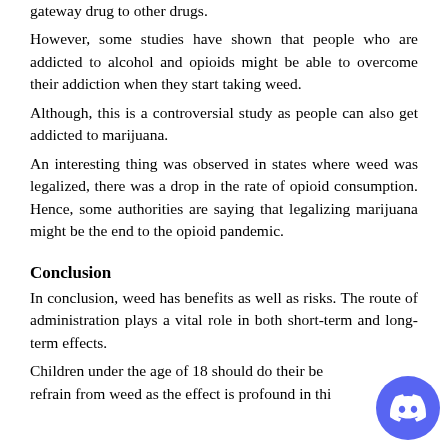gateway drug to other drugs.
However, some studies have shown that people who are addicted to alcohol and opioids might be able to overcome their addiction when they start taking weed.
Although, this is a controversial study as people can also get addicted to marijuana.
An interesting thing was observed in states where weed was legalized, there was a drop in the rate of opioid consumption. Hence, some authorities are saying that legalizing marijuana might be the end to the opioid pandemic.
Conclusion
In conclusion, weed has benefits as well as risks. The route of administration plays a vital role in both short-term and long-term effects.
Children under the age of 18 should do their best to refrain from weed as the effect is profound in this